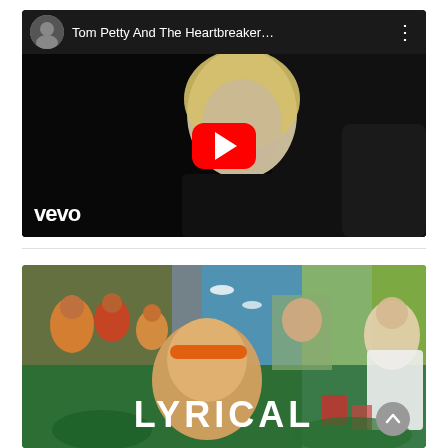[Figure (screenshot): YouTube video embed showing Tom Petty And The Heartbreakers music video with Vevo watermark and red play button, dark thumbnail with blonde person]
[Figure (screenshot): Second YouTube video thumbnail showing colorful collage artwork with person and text 'LYRICAL' overlaid in white bold letters]